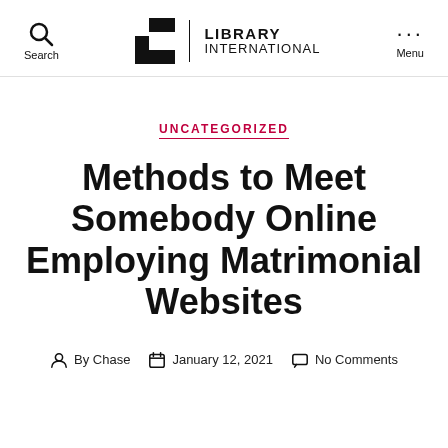Search | LIBRARY INTERNATIONAL | Menu
UNCATEGORIZED
Methods to Meet Somebody Online Employing Matrimonial Websites
By Chase   January 12, 2021   No Comments